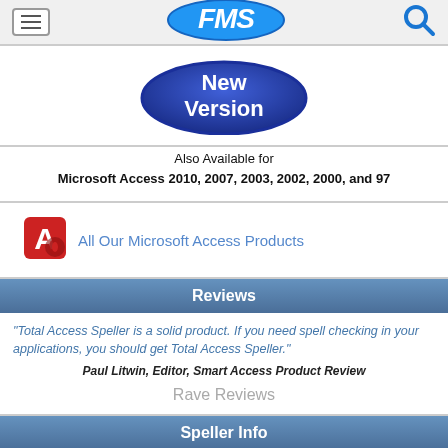FMS (logo) | hamburger menu | search icon
[Figure (logo): New Version badge - dark blue oval with white bold text 'New Version']
Also Available for
Microsoft Access 2010, 2007, 2003, 2002, 2000, and 97
[Figure (logo): Microsoft Access red cylinder/letter A icon]
All Our Microsoft Access Products
Reviews
"Total Access Speller is a solid product. If you need spell checking in your applications, you should get Total Access Speller."
Paul Litwin, Editor, Smart Access Product Review
Rave Reviews
Speller Info
[Figure (photo): Speller product box / book cover image (partially visible)]